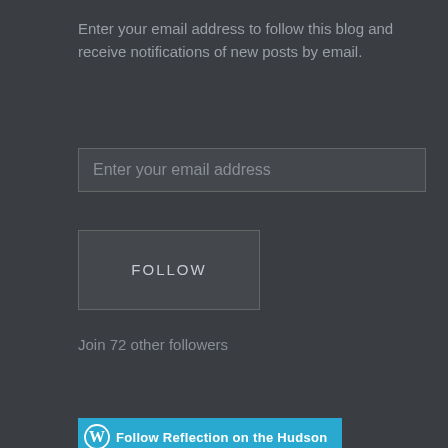Enter your email address to follow this blog and receive notifications of new posts by email.
[Figure (screenshot): Email input field with placeholder text 'Enter your email address']
[Figure (screenshot): FOLLOW button]
Join 72 other followers
[Figure (screenshot): WordPress Follow Reflection on the Hudson button in blue]